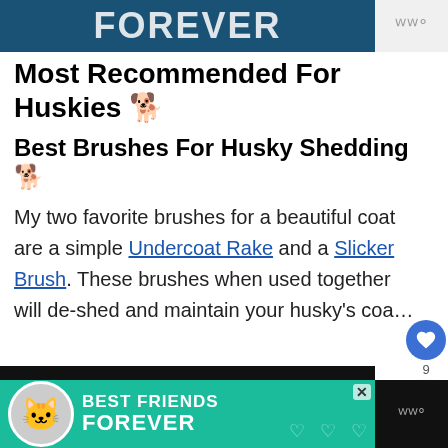[Figure (screenshot): Top advertisement banner with teal/dark blue background showing partial text 'FOREVER' in large white bold letters]
Most Recommended For Huskies 🐕
Best Brushes For Husky Shedding 🐕
My two favorite brushes for a beautiful coat are a simple Undercoat Rake and a Slicker Brush. These brushes when used together will de-shed and maintain your husky's coa...
[Figure (screenshot): Bottom advertisement banner with teal background showing cat icon and text 'BEST FRIENDS FOREVER' with heart decorations and close button]